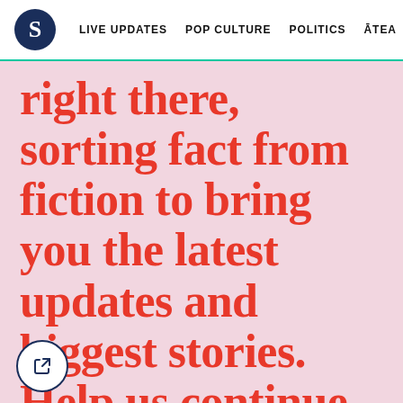S  LIVE UPDATES  POP CULTURE  POLITICS  ĀTEA  ☰
right there, sorting fact from fiction to bring you the latest updates and biggest stories. Help us continue this coverage, and so much more, by supporting The Spinoff Members.
Madeleine Chapman, Editor
JOIN MEMBERS